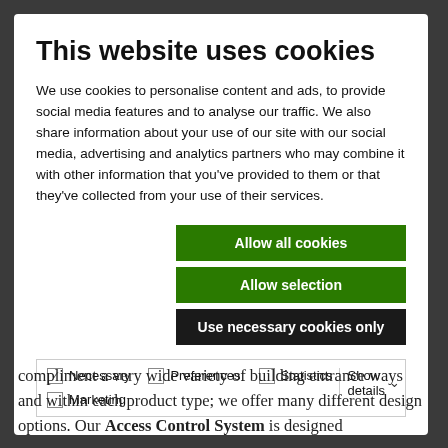This website uses cookies
We use cookies to personalise content and ads, to provide social media features and to analyse our traffic. We also share information about your use of our site with our social media, advertising and analytics partners who may combine it with other information that you've provided to them or that they've collected from your use of their services.
Allow all cookies
Allow selection
Use necessary cookies only
Necessary   Preferences   Statistics   Show details   Marketing
compliment a very wide variety of building entrance ways and within each product type; we offer many different design options. Our Access Control System is designed